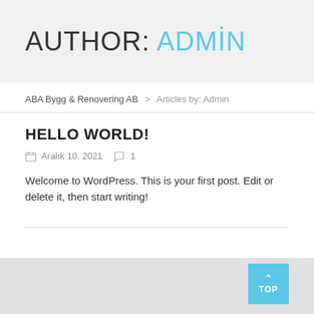AUTHOR: ADMIN
ABA Bygg & Renovering AB > Articles by: Admin
HELLO WORLD!
Aralık 10, 2021  1
Welcome to WordPress. This is your first post. Edit or delete it, then start writing!